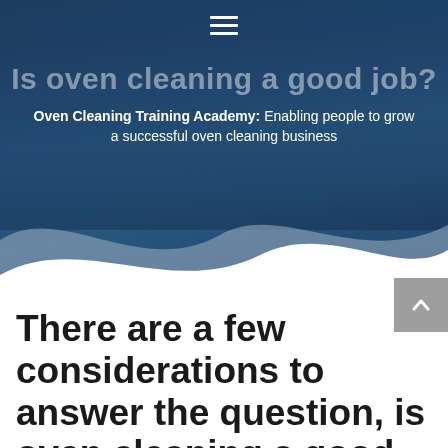[Figure (screenshot): Website header with dark blue background showing oven cleaning image with wave transition at bottom, hamburger menu icon at top]
Is oven cleaning a good job?
Oven Cleaning Training Academy: Enabling people to grow a successful oven cleaning business
There are a few considerations to answer the question, is oven cleaning a good job?